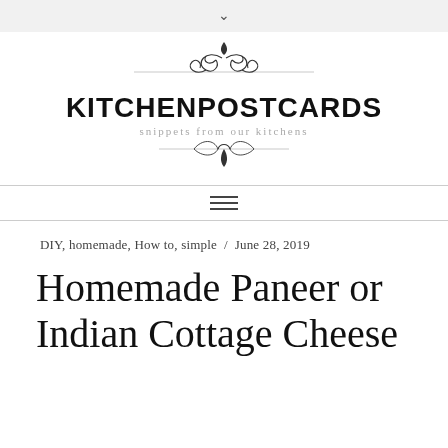∨
[Figure (logo): KitchenPostcards blog logo with ornamental scrollwork above and below the brand name, and tagline 'snippets from our kitchens']
DIY, homemade, How to, simple / June 28, 2019
Homemade Paneer or Indian Cottage Cheese